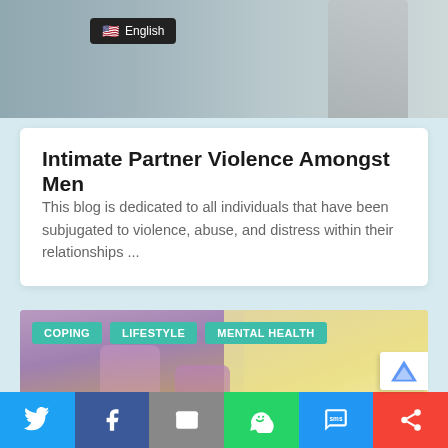[Figure (photo): Top banner photo showing a blurred person, gray/blue tones, with a dark English language badge overlay showing a US flag emoji]
🇺🇸 English
Intimate Partner Violence Amongst Men
This blog is dedicated to all individuals that have been subjugated to violence, abuse, and distress within their relationships ...
[Figure (photo): Photo of person's legs running, wearing purple leggings and running shoes, with sunny outdoor background]
COPING
LIFESTYLE
MENTAL HEALTH